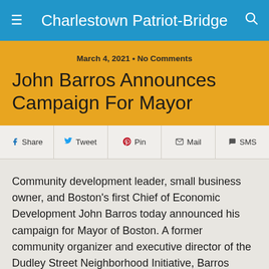Charlestown Patriot-Bridge
March 4, 2021 • No Comments
John Barros Announces Campaign For Mayor
Share  Tweet  Pin  Mail  SMS
Community development leader, small business owner, and Boston's first Chief of Economic Development John Barros today announced his campaign for Mayor of Boston. A former community organizer and executive director of the Dudley Street Neighborhood Initiative, Barros made the